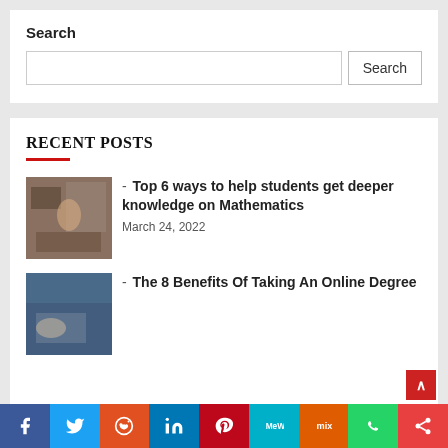Search
Top 6 ways to help students get deeper knowledge on Mathematics — March 24, 2022
The 8 Benefits Of Taking An Online Degree